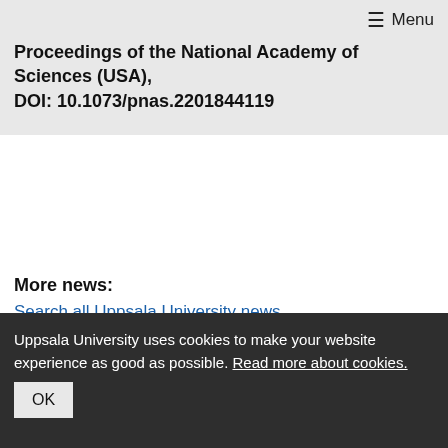≡ Menu
Proceedings of the National Academy of Sciences (USA), DOI: 10.1073/pnas.2201844119
More news:
Search all Uppsala University news
Uppsala University newsletter
Subscribe to the newsletter
Uppsala University uses cookies to make your website experience as good as possible. Read more about cookies. OK